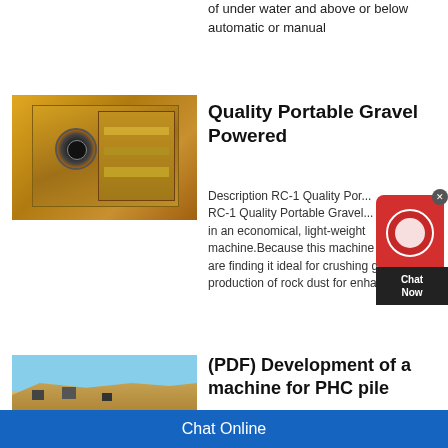of under water and above or below automatic or manual
[Figure (photo): Yellow industrial portable gravel crushing machine with a large flywheel/pulley on an orange-yellow chassis]
Quality Portable Gravel Powered
Description RC-1 Quality Por... RC-1 Quality Portable Gravel... in an economical, light-weight machine.Because this machine are finding it ideal for crushing grave production of rock dust for enhancin
[Figure (photo): Aerial view of a quarry with sandy rock terraces, machinery at work, and a green water pool at the bottom]
(PDF) Development of a machine for PHC pile
The work process of the PPHGC fie insert the machine into the PHC pile this study involves the following eigh
Chat Online